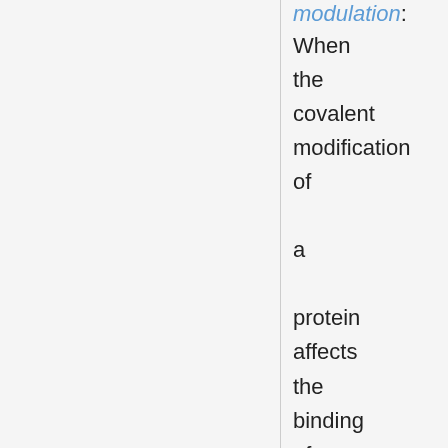modulation: When the covalent modification of a protein affects the binding of a ligand or